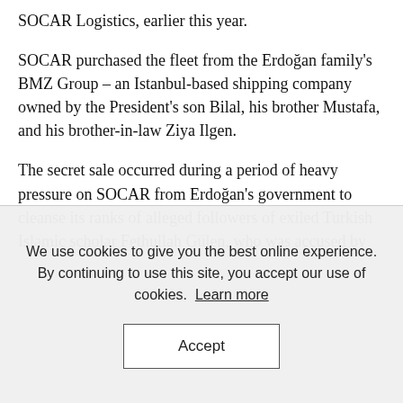SOCAR Logistics, earlier this year.
SOCAR purchased the fleet from the Erdoğan family's BMZ Group – an Istanbul-based shipping company owned by the President's son Bilal, his brother Mustafa, and his brother-in-law Ziya Ilgen.
The secret sale occurred during a period of heavy pressure on SOCAR from Erdoğan's government to cleanse its ranks of alleged followers of exiled Turkish Islamic scholar Fethullah Gülen, who was accused by
We use cookies to give you the best online experience. By continuing to use this site, you accept our use of cookies. Learn more
Accept